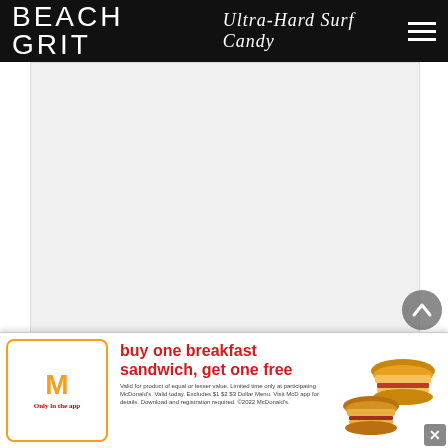BEACH GRIT Ultra-Hard Surf Candy
[Figure (photo): Large light gray image placeholder area, likely a surf-related photo]
The contest runs from January 19 to 28, and the
says
[Figure (infographic): McDonald's advertisement banner: buy one breakfast sandwich, get one free. Only in the app. Valid for product of equal or lesser value. Limited time only at participating McDonald's. Valid today. Excludes $1 $2 $3 Dollar Menu. Visit McD app for details. Download and registration required. ©2022 McDonald's.]
The urban jungle of Tel Aviv, deserted South and the